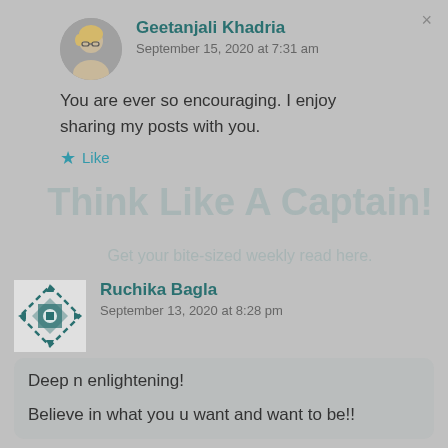Geetanjali Khadria
September 15, 2020 at 7:31 am
You are ever so encouraging. I enjoy sharing my posts with you.
Like
Think Like A Captain! Get your bite-sized weekly read here.
Ruchika Bagla
September 13, 2020 at 8:28 pm
Deep n enlightening!
Believe in what you u want and want to be!!
Like